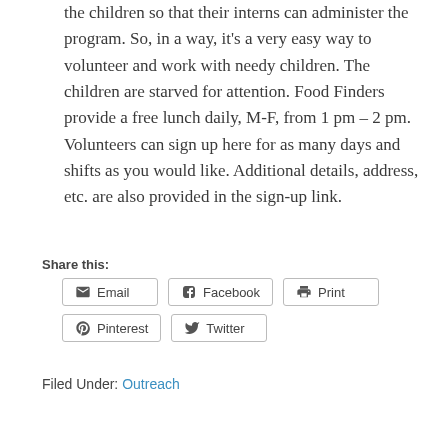the children so that their interns can administer the program. So, in a way, it's a very easy way to volunteer and work with needy children. The children are starved for attention. Food Finders provide a free lunch daily, M-F, from 1 pm – 2 pm. Volunteers can sign up here for as many days and shifts as you would like. Additional details, address, etc. are also provided in the sign-up link.
Share this:
Email | Facebook | Print | Pinterest | Twitter
Filed Under: Outreach